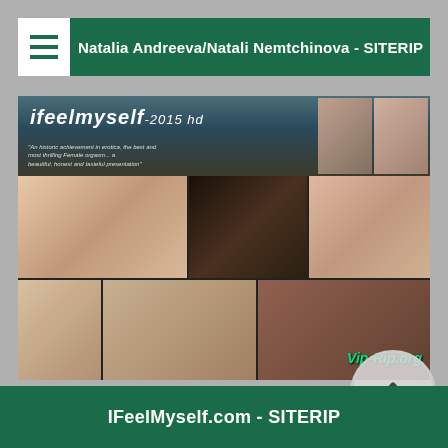Natalia Andreeva/Natali Nemtchinova - SITERIP
[Figure (screenshot): ifeelmyself-2015 website banner with collage of video thumbnails and watermark Vip-Rip.org]
IFeelMyself.com - SITERIP